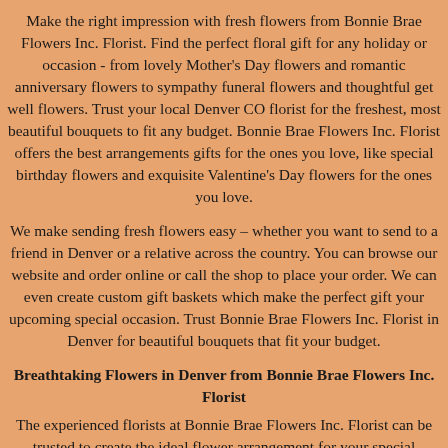Make the right impression with fresh flowers from Bonnie Brae Flowers Inc. Florist. Find the perfect floral gift for any holiday or occasion - from lovely Mother's Day flowers and romantic anniversary flowers to sympathy funeral flowers and thoughtful get well flowers. Trust your local Denver CO florist for the freshest, most beautiful bouquets to fit any budget. Bonnie Brae Flowers Inc. Florist offers the best arrangements gifts for the ones you love, like special birthday flowers and exquisite Valentine's Day flowers for the ones you love.
We make sending fresh flowers easy – whether you want to send to a friend in Denver or a relative across the country. You can browse our website and order online or call the shop to place your order. We can even create custom gift baskets which make the perfect gift your upcoming special occasion. Trust Bonnie Brae Flowers Inc. Florist in Denver for beautiful bouquets that fit your budget.
Breathtaking Flowers in Denver from Bonnie Brae Flowers Inc. Florist
The experienced florists at Bonnie Brae Flowers Inc. Florist can be trusted to create the ideal flower arrangement for your special occasion. From stunning plants to thoughtful gift baskets, you're sure to find just what you're looking for. Every bouquet from Bonnie Brae Flowers Inc. Florist is carefully arranged with the freshest flowers in Denver and hand-delivered to your recipient's door. Count on us, your local flower shop, for all of your gift-giving in Denver CO.